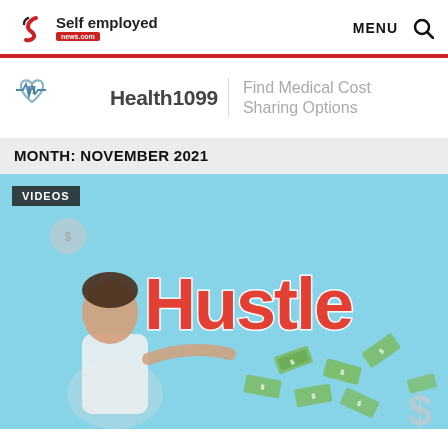Self employed news.com — MENU 🔍
[Figure (logo): Health1099 logo with heart and EKG icon, tagline: Find Medical Cost Sharing Options]
MONTH: NOVEMBER 2021
[Figure (photo): Article thumbnail with light blue background showing a surprised woman pointing right toward large red 'Hustle' text with flying dollar bills and money symbols. VIDEOS badge in top-left corner.]